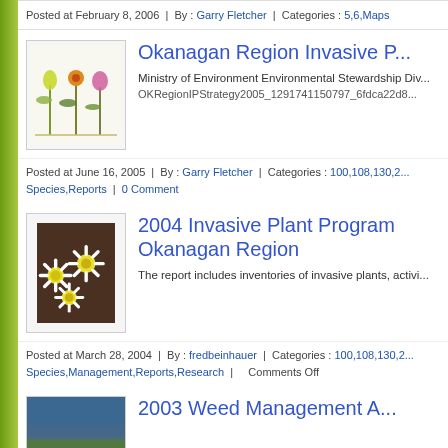Posted at February 8, 2006 | By : Garry Fletcher | Categories : 5,6,Maps
[Figure (illustration): Illustration of invasive plant species - three wild plants]
Okanagan Region Invasive P...
Ministry of Environment Environmental Stewardship Div...
OKRegionIPStrategy2005_1291741150797_6fdca22d8...
Posted at June 16, 2005 | By : Garry Fletcher | Categories : 100,108,130,2... Species,Reports | 0 Comment
[Figure (photo): Photo of white daisy flowers]
2004 Invasive Plant Program Okanagan Region
The report includes inventories of invasive plants, activi...
Posted at March 28, 2004 | By : fredbeinhauer | Categories : 100,108,130,2... Species,Management,Reports,Research | Comments Off
2003 Weed Management A...